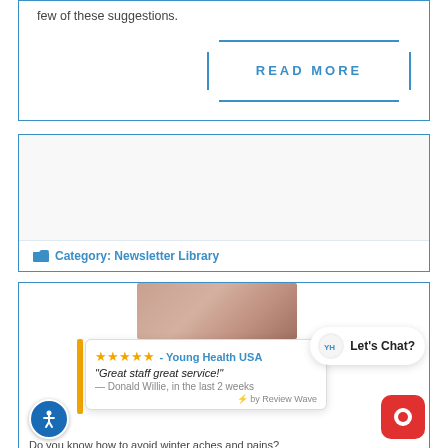few of these suggestions.
READ MORE
Category: Newsletter Library
[Figure (screenshot): Review widget showing 5-star rating from Young Health USA with quote 'Great staff great service!' by Donald Willie, and Let's Chat popup button with Young Health logo.]
Do you know how to avoid winter aches and pains?